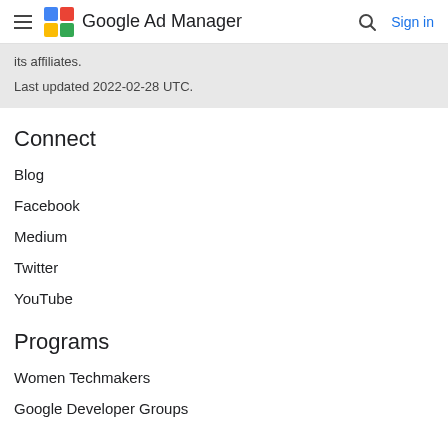Google Ad Manager — Sign in
its affiliates.
Last updated 2022-02-28 UTC.
Connect
Blog
Facebook
Medium
Twitter
YouTube
Programs
Women Techmakers
Google Developer Groups